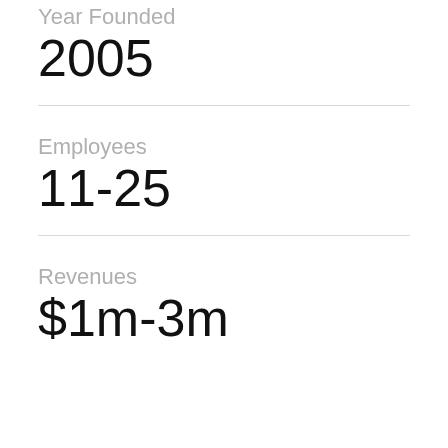Year Founded
2005
Employees
11-25
Revenues
$1m-3m